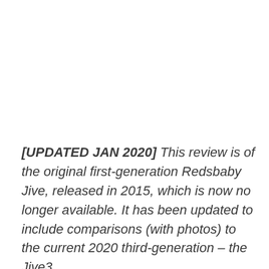[UPDATED JAN 2020] This review is of the original first-generation Redsbaby Jive, released in 2015, which is now no longer available. It has been updated to include comparisons (with photos) to the current 2020 third-generation – the Jive3.